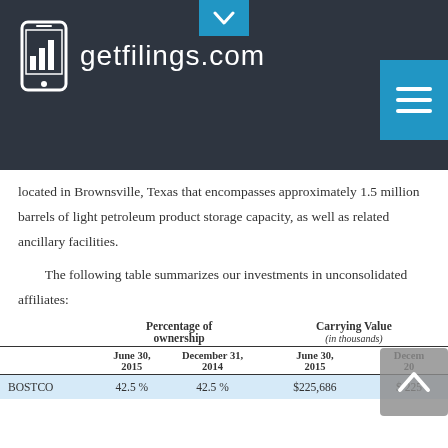getfilings.com
located in Brownsville, Texas that encompasses approximately 1.5 million barrels of light petroleum product storage capacity, as well as related ancillary facilities.
The following table summarizes our investments in unconsolidated affiliates:
|  | Percentage of ownership |  | Carrying Value (in thousands) |  |
| --- | --- | --- | --- | --- |
|  | June 30, 2015 | December 31, 2014 | June 30, 2015 | December 31, 20-- |
| BOSTCO | 42.5 % | 42.5 % | $225,686 | $ 225 |